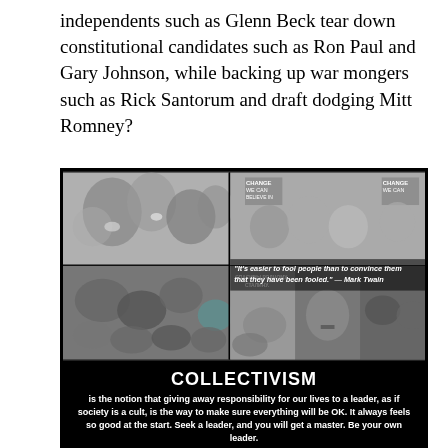independents such as Glenn Beck tear down constitutional candidates such as Ron Paul and Gary Johnson, while backing up war mongers such as Rick Santorum and draft dodging Mitt Romney?
[Figure (photo): Collage of black and white photos comparing crowd scenes from different political/historical contexts, with a Mark Twain quote overlay and Soviet-era imagery including Stalin.]
COLLECTIVISM is the notion that giving away responsibility for our lives to a leader, as if society is a cult, is the way to make sure everything will be OK. It always feels so good at the start. Seek a leader, and you will get a master. Be your own leader.